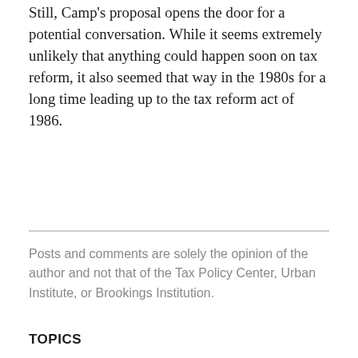Still, Camp's proposal opens the door for a potential conversation.  While it seems extremely unlikely that anything could happen soon on tax reform, it also seemed that way in the 1980s for a long time leading up to the tax reform act of 1986.
Posts and comments are solely the opinion of the author and not that of the Tax Policy Center, Urban Institute, or Brookings Institution.
TOPICS
CAMPAIGNS, PROPOSALS, AND REFORMS
CAMPAIGNS, PROPOSALS, AND REFORMS